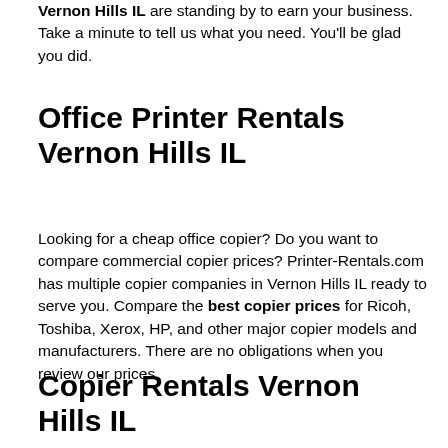Vernon Hills IL are standing by to earn your business. Take a minute to tell us what you need. You'll be glad you did.
Office Printer Rentals Vernon Hills IL
Looking for a cheap office copier? Do you want to compare commercial copier prices? Printer-Rentals.com has multiple copier companies in Vernon Hills IL ready to serve you. Compare the best copier prices for Ricoh, Toshiba, Xerox, HP, and other major copier models and manufacturers. There are no obligations when you review our prices.
Copier Rentals Vernon Hills IL